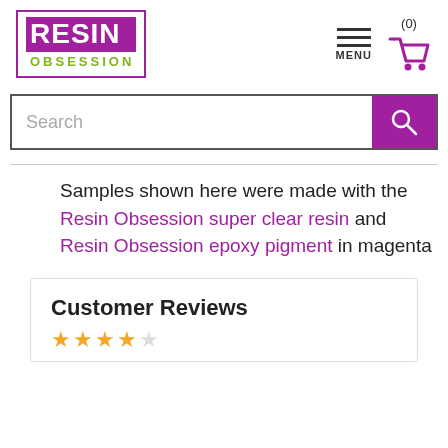[Figure (logo): Resin Obsession logo: purple box with white RESIN text and green OBSESSION text below]
[Figure (infographic): Navigation icons: hamburger menu with MENU label and shopping cart with (0) count]
[Figure (screenshot): Search bar with text field and purple search button]
Samples shown here were made with the Resin Obsession super clear resin and Resin Obsession epoxy pigment in magenta
Customer Reviews